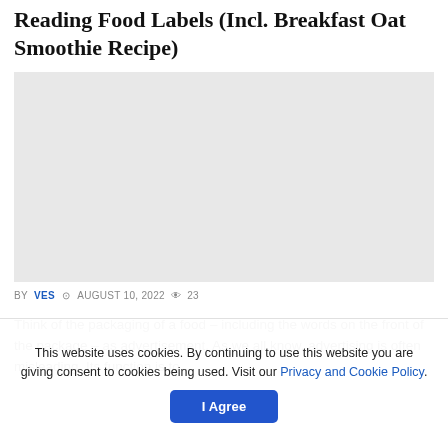Reading Food Labels (Incl. Breakfast Oat Smoothie Recipe)
[Figure (photo): Placeholder image area with light gray background]
BY VES  AUGUST 10, 2022  23
Think of the packaging of a food – including the words on the front of the package – as advertisement. As we all know, advertising is often misleading. Its function is to...
This website uses cookies. By continuing to use this website you are giving consent to cookies being used. Visit our Privacy and Cookie Policy.